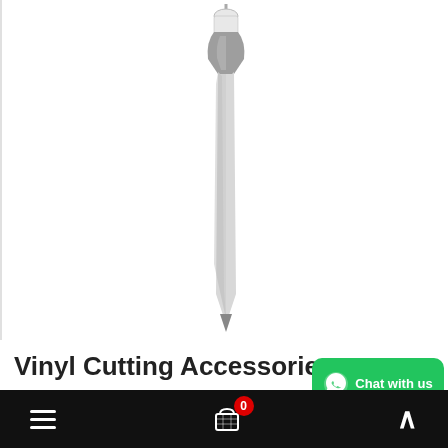[Figure (photo): A vinyl cutting pen/blade tool accessory shown vertically oriented, with a gray and white body, metallic tip at top, tapering to a sharp point at the bottom. Product photo on white background.]
Vinyl Cutting Accessories
[Figure (other): Green chat bubble button with WhatsApp-style phone icon and text 'Chat with us']
Navigation bar with hamburger menu, shopping cart icon with badge '0', and up arrow button on black background